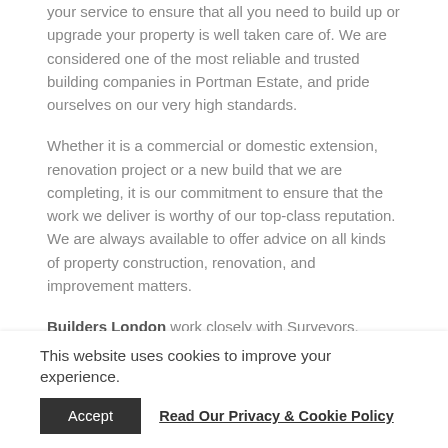your service to ensure that all you need to build up or upgrade your property is well taken care of. We are considered one of the most reliable and trusted building companies in Portman Estate, and pride ourselves on our very high standards.
Whether it is a commercial or domestic extension, renovation project or a new build that we are completing, it is our commitment to ensure that the work we deliver is worthy of our top-class reputation. We are always available to offer advice on all kinds of property construction, renovation, and improvement matters.
Builders London work closely with Surveyors, Interior Designers, and Architects among other professionals to create new solutions that provide excellent value for
This website uses cookies to improve your experience.
Accept | Read Our Privacy & Cookie Policy